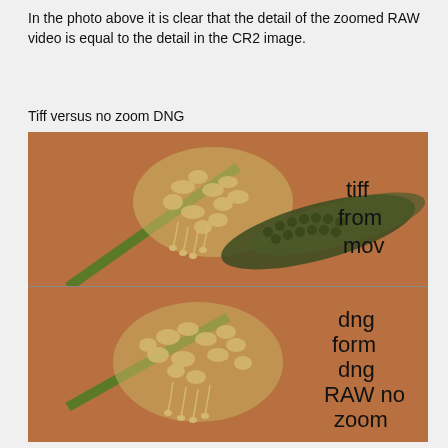In the photo above it is clear that the detail of the zoomed RAW video is equal to the detail in the CR2 image.
Tiff versus no zoom DNG
[Figure (photo): Two side-by-side comparison photos of a flower/plant spike macro shot. Top image labeled 'tiff from mov', bottom image labeled 'dng form dng RAW no zoom'. Both show the same flower cluster on a reddish-brown background.]